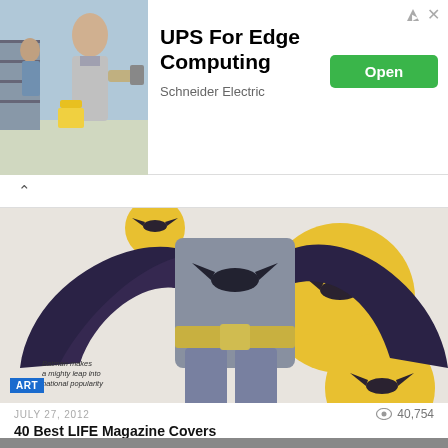[Figure (screenshot): Ad banner: UPS For Edge Computing by Schneider Electric with an Open button. Photo shows a person with a scanner in a warehouse/store setting.]
UPS For Edge Computing
Schneider Electric
[Figure (photo): Batman figure in grey costume with yellow belt and bat symbol on chest, dark cape spread wide, against white background with yellow bat signal circles. Text on image reads: Batman makes a mighty leap into national popularity. ART tag in blue at bottom left.]
JULY 27, 2012
40,754
40 Best LIFE Magazine Covers
Share This